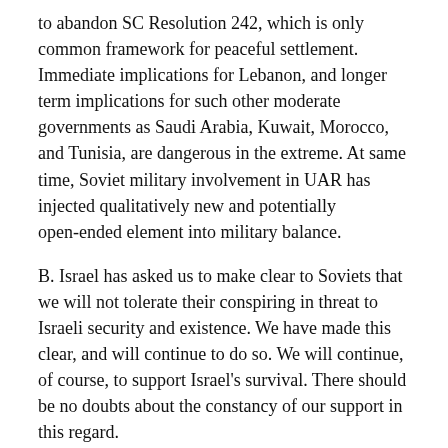to abandon SC Resolution 242, which is only common framework for peaceful settlement. Immediate implications for Lebanon, and longer term implications for such other moderate governments as Saudi Arabia, Kuwait, Morocco, and Tunisia, are dangerous in the extreme. At same time, Soviet military involvement in UAR has injected qualitatively new and potentially open-ended element into military balance.
B. Israel has asked us to make clear to Soviets that we will not tolerate their conspiring in threat to Israeli security and existence. We have made this clear, and will continue to do so. We will continue, of course, to support Israel's survival. There should be no doubts about the constancy of our support in this regard.
C. However, it is also in our national interest to preserve US position in moderate Arab world and in checking further Soviet gains in area as a whole.
D. We therefore need a strong political as well as a firm military strategy. Soviet thrust is as much political as military, and can only be countered by comparable two-pronged approach by us.
E. On political side, there is urgent need to launch genuine